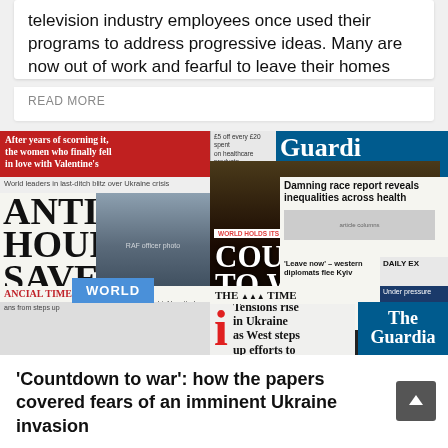television industry employees once used their programs to address progressive ideas. Many are now out of work and fearful to leave their homes
READ MORE
[Figure (photo): Collage of newspaper front pages covering Ukraine invasion fears, including Financial Times, The Times, Daily Express, The Guardian, and i newspaper. Headlines include 'COUNTDOWN TO WAR', 'WORLD HOLDS ITS BREATH', 'Tensions rise in Ukraine as West steps up efforts to', 'Damning race report reveals inequalities across health', 'Leaders in final push to avert Ukraine'. A 'WORLD' badge appears in the lower-left area.]
'Countdown to war': how the papers covered fears of an imminent Ukraine invasion